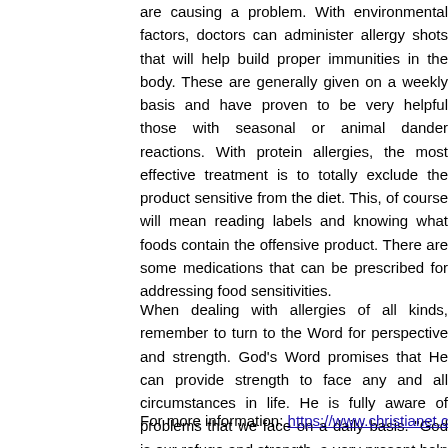are causing a problem. With environmental factors, doctors can administer allergy shots that will help build proper immunities in the body. These are generally given on a weekly basis and have proven to be very helpful those with seasonal or animal dander reactions. With protein allergies, the most effective treatment is to totally exclude the product sensitive from the diet. This, of course will mean reading labels and knowing what foods contain the offensive product. There are some medications that can be prescribed for addressing food sensitivities.
When dealing with allergies of all kinds, remember to turn to the Word for perspective and strength. God's Word promises that He can provide strength to face any and all circumstances in life. He is fully aware of problems that we face on a daily basis. "God is our refuge and strength, a very present help in trouble. Therefore will not we fear, though the earth be moved and though the mountains be carried into the midst of the sea" (Psalm 46:1-2) There are many passages in the Bible that speak of God's faithfulness and reading these when times are difficult can be helpful.
Getting informed about how to effectively take care of allergy problems is ultimately the person with allergies responsibility. The Internet provides a wonderful source for finding out more about herbal allergy relief, food substitutions. Seekers can also find recipes and menus that will make a sensitive plan interesting meals that are full of flavor. Log on today to discover more about your personal allergies and about the possibility of having a food allergy test.
For more information: https://www.christianet.com/asthma